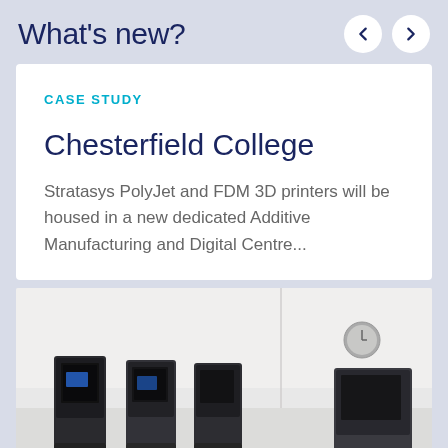What's new?
CASE STUDY
Chesterfield College
Stratasys PolyJet and FDM 3D printers will be housed in a new dedicated Additive Manufacturing and Digital Centre...
[Figure (photo): Photo of 3D printers (Stratasys PolyJet and FDM models) in a bright white room with a clock on the wall]